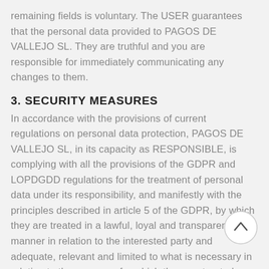remaining fields is voluntary. The USER guarantees that the personal data provided to PAGOS DE VALLEJO SL. They are truthful and you are responsible for immediately communicating any changes to them.
3. SECURITY MEASURES
In accordance with the provisions of current regulations on personal data protection, PAGOS DE VALLEJO SL, in its capacity as RESPONSIBLE, is complying with all the provisions of the GDPR and LOPDGDD regulations for the treatment of personal data under its responsibility, and manifestly with the principles described in article 5 of the GDPR, by which they are treated in a lawful, loyal and transparent manner in relation to the interested party and adequate, relevant and limited to what is necessary in relation to the purposes for which they are treated. PAGOS